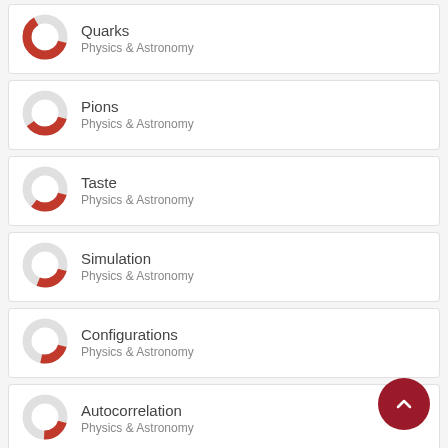Quarks — Physics & Astronomy
Pions — Physics & Astronomy
Taste — Physics & Astronomy
Simulation — Physics & Astronomy
Configurations — Physics & Astronomy
Autocorrelation — Physics & Astronomy
Broken symmetry — Physics & Astronomy